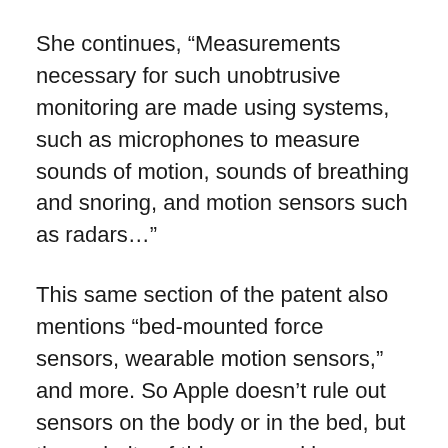She continues, “Measurements necessary for such unobtrusive monitoring are made using systems, such as microphones to measure sounds of motion, sounds of breathing and snoring, and motion sensors such as radars…”
This same section of the patent also mentions “bed-mounted force sensors, wearable motion sensors,” and more. So Apple doesn’t rule out sensors on the body or in the bed, but the majority of this proposal is concerned with how to track sleep without any such hardware.
“When monitoring physiological parameters, for example the sleep of one person sleeping